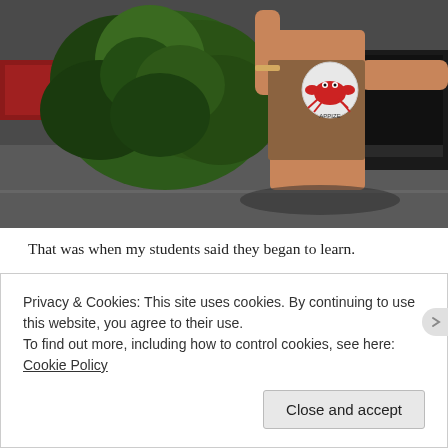[Figure (screenshot): A screenshot of a video game (The Sims) showing a character holding green plant leaves, wearing a brown outfit with a crab logo, standing near a piano in an indoor setting.]
That was when my students said they began to learn.
When my wife was alive, she loved to talk. She talked about her cares. For the first twenty years of our life together, I thought it was my job, as her husband, to remove her cares. And so I did, one by one. Each one that I removed was replaced by another, more difficult and more problematic to resolve. And then one day, when we were young only in heart, I realized that she loved her cares. I was not doing her a favor
Privacy & Cookies: This site uses cookies. By continuing to use this website, you agree to their use.
To find out more, including how to control cookies, see here: Cookie Policy